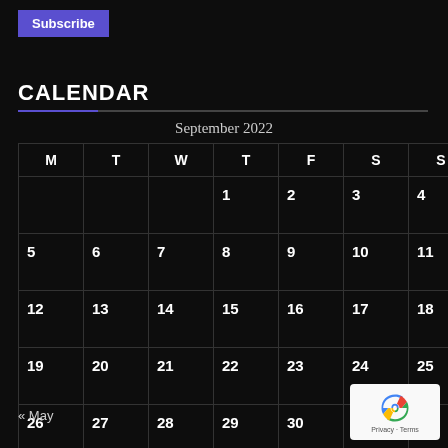Subscribe
CALENDAR
| M | T | W | T | F | S | S |
| --- | --- | --- | --- | --- | --- | --- |
|  |  |  | 1 | 2 | 3 | 4 |
| 5 | 6 | 7 | 8 | 9 | 10 | 11 |
| 12 | 13 | 14 | 15 | 16 | 17 | 18 |
| 19 | 20 | 21 | 22 | 23 | 24 | 25 |
| 26 | 27 | 28 | 29 | 30 |  |  |
« May
[Figure (logo): reCAPTCHA badge with Privacy and Terms links]